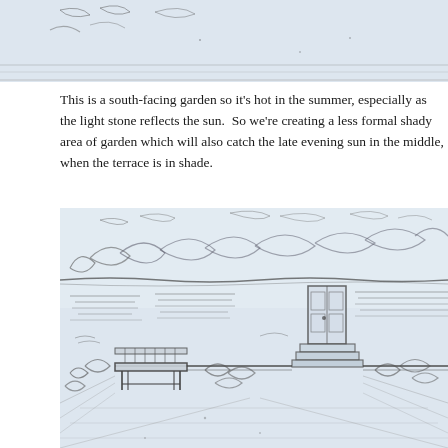[Figure (illustration): Top portion of a hand-drawn pencil sketch of a garden design, cropped at the top of the page showing foliage and ground elements.]
This is a south-facing garden so it's hot in the summer, especially as the light stone reflects the sun.  So we're creating a less formal shady area of garden which will also catch the late evening sun in the middle, when the terrace is in shade.
[Figure (illustration): Hand-drawn pencil sketch of a garden landscape design showing a bench on the left, planting beds with various plants and shrubs, a gate/door in the middle background, steps leading up, and a terrace area in the foreground. The sketch has a light blue wash background with detailed pencil line work showing perspective view of the garden layout.]